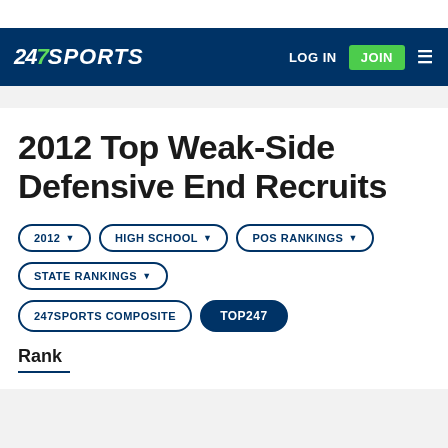247 SPORTS — LOG IN | JOIN
2012 Top Weak-Side Defensive End Recruits
2012 ▼
HIGH SCHOOL ▼
POS RANKINGS ▼
STATE RANKINGS ▼
247SPORTS COMPOSITE
TOP247
Rank